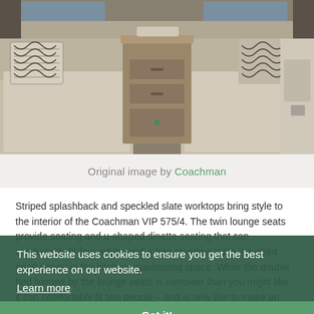[Figure (photo): Interior photo of a caravan/motorhome showing two facing lounge seats/sofas with beige cushions and patterned decorative pillows, a wooden cabinet/table unit in the center, and windows in the background.]
Original image by Coachman
Striped splashback and speckled slate worktops bring style to the interior of the Coachman VIP 575/4. The twin lounge seats provide seating and u-shaped dinette seating that can comfortably fit four adults and a free standing table is tucked neatly away in the kitchen, maximising space. While the double bed formed by the lounge seats is narrower than you might like, it can comfortably fit two people – and is only like to make an appearance when you have guests staying. The 575/4 comes with a dual-fuel hob, and a
This website uses cookies to ensure you get the best experience on our website.
Learn more
Got it!